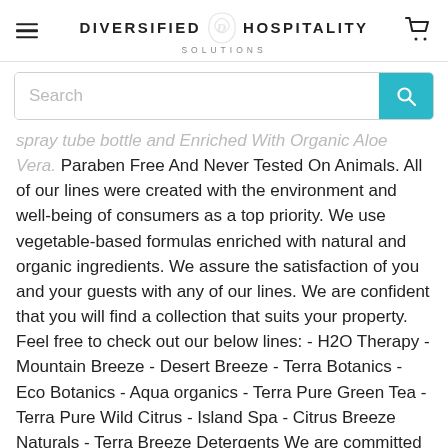Diversified Hospitality Solutions
Search
spray tube bottle and Enriched With Organic Aloe Vera. Paraben Free And Never Tested On Animals. All of our lines were created with the environment and well-being of consumers as a top priority. We use vegetable-based formulas enriched with natural and organic ingredients. We assure the satisfaction of you and your guests with any of our lines. We are confident that you will find a collection that suits your property. Feel free to check out our below lines: - H2O Therapy - Mountain Breeze - Desert Breeze - Terra Botanics - Eco Botanics - Aqua organics - Terra Pure Green Tea - Terra Pure Wild Citrus - Island Spa - Citrus Breeze Naturals - Terra Breeze Detergents We are committed to selling products that